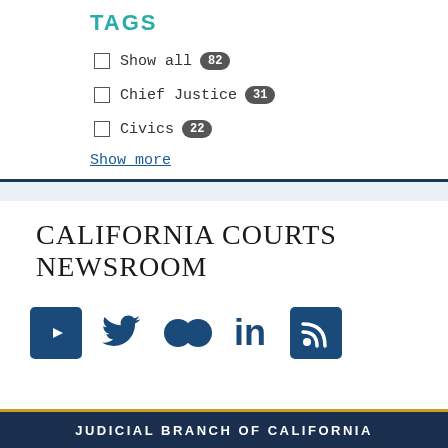TAGS
Show all 82
Chief Justice 31
Civics 22
Show more
CALIFORNIA COURTS NEWSROOM
[Figure (other): Social media icons: YouTube, Twitter, Flickr, LinkedIn, RSS feed]
JUDICIAL BRANCH OF CALIFORNIA